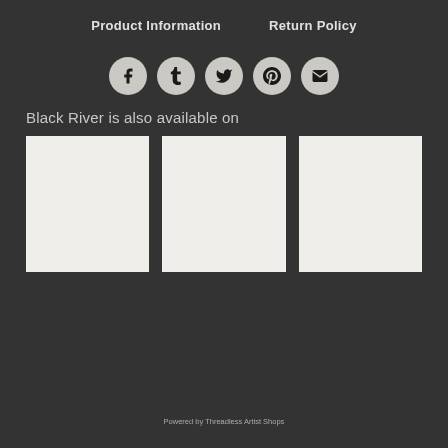Product Information   Return Policy
[Figure (infographic): Social sharing icons: Facebook, Tumblr, Twitter, Pinterest, Email — circular gray buttons with black icons]
Black River is also available on
[Figure (photo): Three white/light gray product image placeholder boxes arranged in a row]
Powered by Threadless Artist Shops